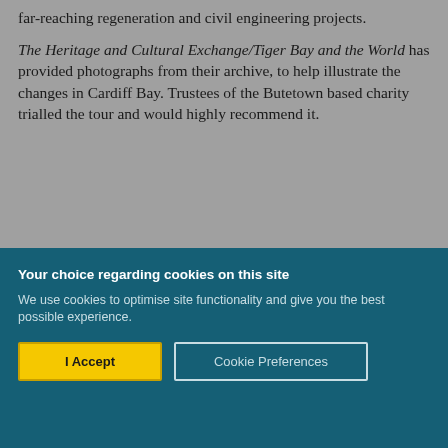far-reaching regeneration and civil engineering projects.
The Heritage and Cultural Exchange/Tiger Bay and the World has provided photographs from their archive, to help illustrate the changes in Cardiff Bay. Trustees of the Butetown based charity trialled the tour and would highly recommend it.
Your choice regarding cookies on this site
We use cookies to optimise site functionality and give you the best possible experience.
I Accept
Cookie Preferences